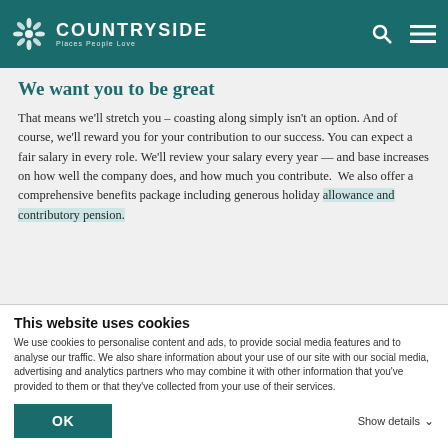COUNTRYSIDE Places People Love
We want you to be great
That means we'll stretch you – coasting along simply isn't an option. And of course, we'll reward you for your contribution to our success. You can expect a fair salary in every role. We'll review your salary every year — and base increases on how well the company does, and how much you contribute.  We also offer a comprehensive benefits package including generous holiday allowance and contributory pension.
This website uses cookies
We use cookies to personalise content and ads, to provide social media features and to analyse our traffic. We also share information about your use of our site with our social media, advertising and analytics partners who may combine it with other information that you've provided to them or that they've collected from your use of their services.